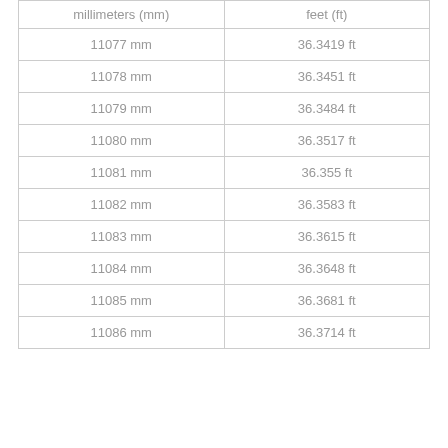| millimeters (mm) | feet (ft) |
| --- | --- |
| 11077 mm | 36.3419 ft |
| 11078 mm | 36.3451 ft |
| 11079 mm | 36.3484 ft |
| 11080 mm | 36.3517 ft |
| 11081 mm | 36.355 ft |
| 11082 mm | 36.3583 ft |
| 11083 mm | 36.3615 ft |
| 11084 mm | 36.3648 ft |
| 11085 mm | 36.3681 ft |
| 11086 mm | 36.3714 ft |